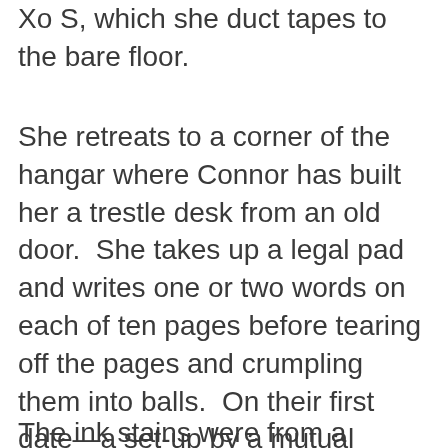Xo S, which she duct tapes to the bare floor.
She retreats to a corner of the hangar where Connor has built her a trestle desk from an old door.  She takes up a legal pad and writes one or two words on each of ten pages before tearing off the pages and crumpling them into balls.  On their first date—a set-up by a mutual friend—Connor had seen the ink stains on the first joints of her fingers, and he'd leaned over the table, his whole body long and loose and even then at ease and said, “So you’re a writer.”
The ink stains were from a coloring